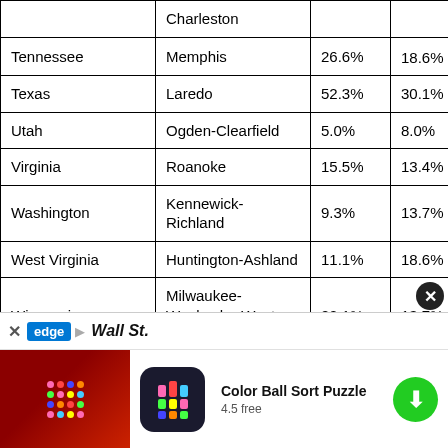| State | Metro Area | Col3 | Col4 |
| --- | --- | --- | --- |
|  | Charleston |  |  |
| Tennessee | Memphis | 26.6% | 18.6% |
| Texas | Laredo | 52.3% | 30.1% |
| Utah | Ogden-Clearfield | 5.0% | 8.0% |
| Virginia | Roanoke | 15.5% | 13.4% |
| Washington | Kennewick-Richland | 9.3% | 13.7% |
| West Virginia | Huntington-Ashland | 11.1% | 18.6% |
| Wisconsin | Milwaukee-Waukesha-West Allis | 20.1% | 13.7% |
[Figure (screenshot): Mobile app advertisement overlay for 'Color Ball Sort Puzzle' with edge browser bar showing Wall St., app icon, rating 4.5 free, and download button]